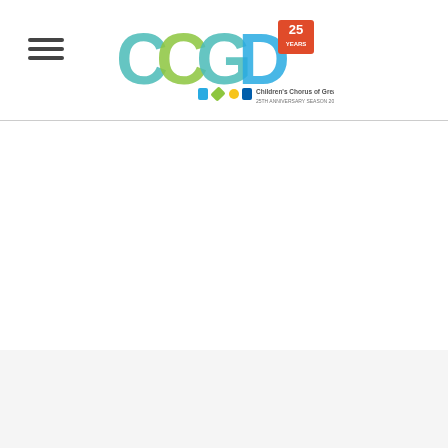[Figure (logo): CCGD 25 Years logo — Children's Chorus of Greater Dallas, with teal/blue C, green C, teal G, and blue/green D letters with a 25 YEARS badge, and colorful icons below with text 'Children's Chorus of Greater Dallas, 25TH ANNIVERSARY SEASON 2021-2022']